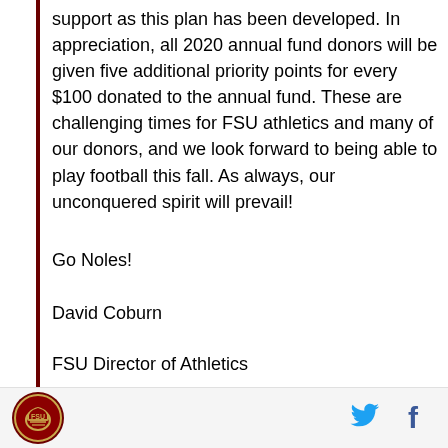support as this plan has been developed. In appreciation, all 2020 annual fund donors will be given five additional priority points for every $100 donated to the annual fund. These are challenging times for FSU athletics and many of our donors, and we look forward to being able to play football this fall. As always, our unconquered spirit will prevail!
Go Noles!
David Coburn
FSU Director of Athletics
Andy Miller
President & CEO Seminole Boosters
[Figure (logo): FSU Seminoles circular logo with helmet]
[Figure (logo): Twitter bird icon in blue]
[Figure (logo): Facebook f icon in blue]